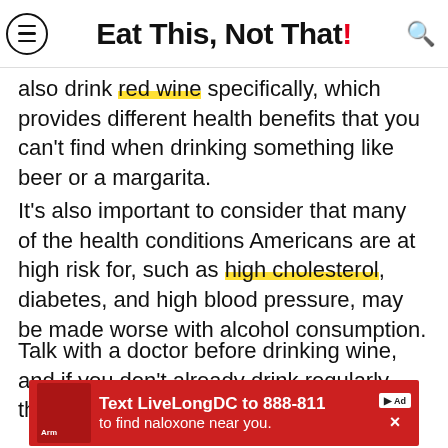Eat This, Not That!
also drink red wine specifically, which provides different health benefits that you can't find when drinking something like beer or a margarita.
It's also important to consider that many of the health conditions Americans are at high risk for, such as high cholesterol, diabetes, and high blood pressure, may be made worse with alcohol consumption.
Talk with a doctor before drinking wine, and if you don't already drink regularly, this doesn't mean you need to start!
[Figure (screenshot): Advertisement banner: red background, text 'Text LiveLongDC to 888-811 to find naloxone near you.']